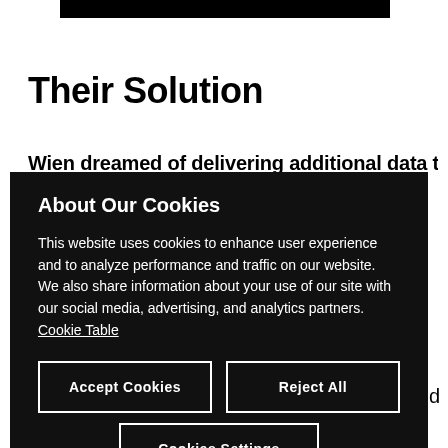[Figure (other): Black horizontal bar at top of page]
Their Solution
Wien dreamed of delivering...
About Our Cookies cookie banner overlay with Accept Cookies, Reject All, and Cookies Settings buttons
center rack for ingestion and immediate use